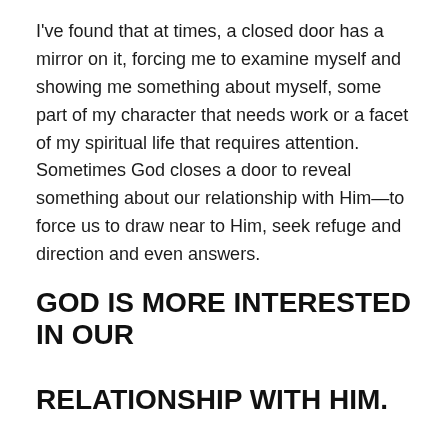I've found that at times, a closed door has a mirror on it, forcing me to examine myself and showing me something about myself, some part of my character that needs work or a facet of my spiritual life that requires attention. Sometimes God closes a door to reveal something about our relationship with Him—to force us to draw near to Him, seek refuge and direction and even answers.
GOD IS MORE INTERESTED IN OUR RELATIONSHIP WITH HIM. WHETHER WALKING THROUGH AN OPEN DOOR OR PAUSING TO